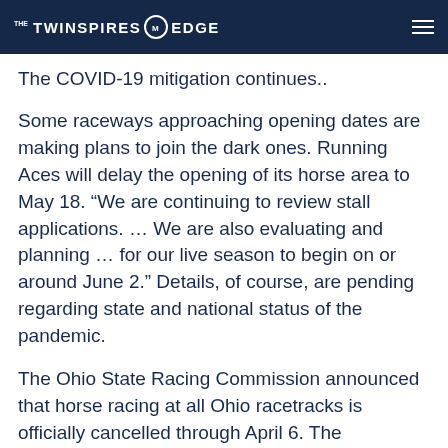THE TWINSPIRES EDGE
The COVID-19 mitigation continues..
Some raceways approaching opening dates are making plans to join the dark ones. Running Aces will delay the opening of its horse area to May 18. “We are continuing to review stall applications. … We are also evaluating and planning … for our live season to begin on or around June 2.” Details, of course, are pending regarding state and national status of the pandemic.
The Ohio State Racing Commission announced that horse racing at all Ohio racetracks is officially cancelled through April 6. The commission will be in contact with the permit holders and horse-